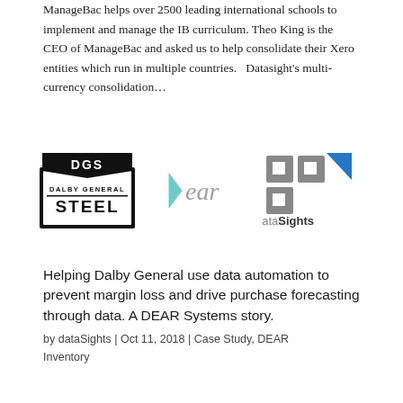ManageBac helps over 2500 leading international schools to implement and manage the IB curriculum. Theo King is the CEO of ManageBac and asked us to help consolidate their Xero entities which run in multiple countries.   Datasight's multi-currency consolidation...
[Figure (logo): Three logos side by side: Dalby General Steel (DGS) logo on the left, DEAR Systems logo in the center, and dataSights logo on the right]
Helping Dalby General use data automation to prevent margin loss and drive purchase forecasting through data. A DEAR Systems story.
by dataSights | Oct 11, 2018 | Case Study, DEAR Inventory